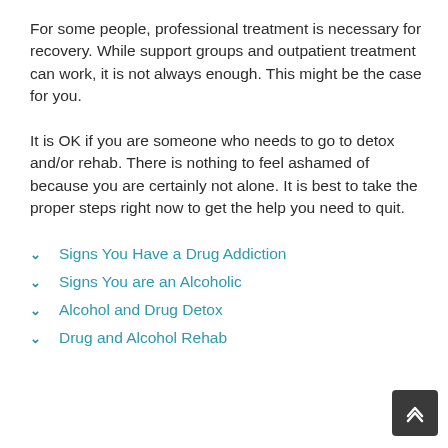For some people, professional treatment is necessary for recovery. While support groups and outpatient treatment can work, it is not always enough. This might be the case for you.
It is OK if you are someone who needs to go to detox and/or rehab. There is nothing to feel ashamed of because you are certainly not alone. It is best to take the proper steps right now to get the help you need to quit.
Signs You Have a Drug Addiction
Signs You are an Alcoholic
Alcohol and Drug Detox
Drug and Alcohol Rehab